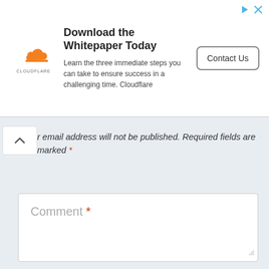[Figure (screenshot): Cloudflare advertisement banner: 'Download the Whitepaper Today' with logo, body text about three steps to ensure success, and a Contact Us button]
r email address will not be published. Required fields are marked *
Comment *